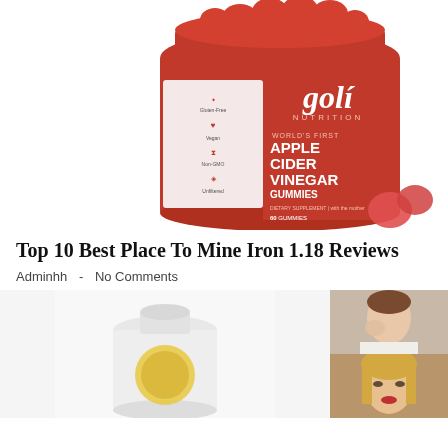[Figure (photo): Red jar of Goli Nutrition Apple Cider Vinegar Gummies product, showing label with 'World's First Apple Cider Vinegar Gummies', Gluten-Free, Vegan, Non-GMO, Unfiltered icons, 60 gummies dietary supplement]
Top 10 Best Place To Mine Iron 1.18 Reviews
Adminhh  -  No Comments
[Figure (photo): White supplement bottle with yellow/gold circular logo visible at bottom, on white background]
[Figure (photo): Two portrait photos of women stacked vertically on the right side]